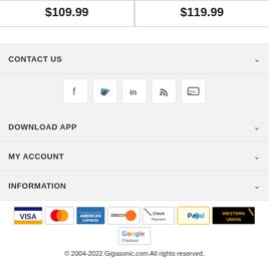| $109.99 | $119.99 |
CONTACT US
[Figure (infographic): Social media icons: Facebook, Twitter, LinkedIn, RSS, YouTube]
DOWNLOAD APP
MY ACCOUNT
INFORMATION
[Figure (infographic): Payment method logos: VISA, Mastercard, American Express, Discover, Check Payment, PayPal, Western Union, Google Checkout]
© 2004-2022 Gigasonic.com All rights reserved.